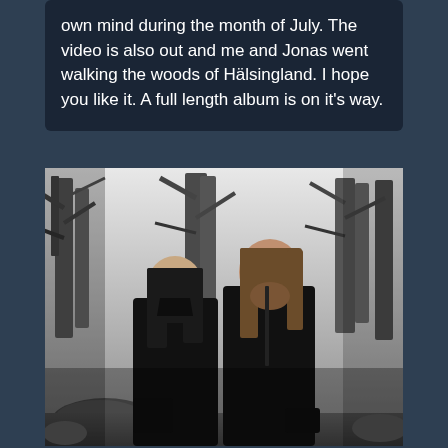own mind during the month of July. The video is also out and me and Jonas went walking the woods of Hälsingland. I hope you like it. A full length album is on it's way.
[Figure (photo): Black and white photograph of two people standing in a forest. Both wear dark clothing. Trees with bare and leafy branches visible in the background.]